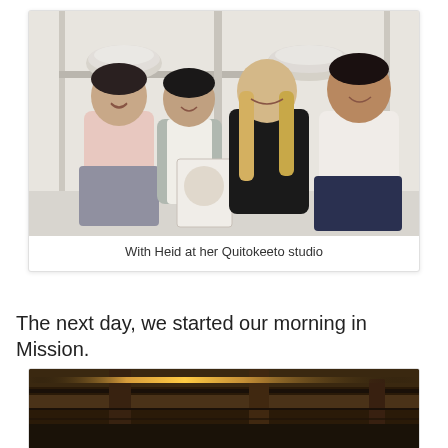[Figure (photo): Group photo of four people standing together inside the Quitokeeto studio. Two Asian women on the left (one in pink top and grey skirt, one in grey cardigan holding a document), a blonde woman in black in the center-right, and a man in a white shirt on the far right. White shelving with ceramic bowls in the background.]
With Heid at her Quitokeeto studio
The next day, we started our morning in Mission.
[Figure (photo): Partial photo showing the underside of a wooden structure or bridge with warm light visible, taken from below looking up.]